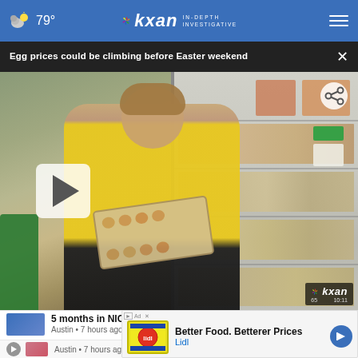79° kxan IN-DEPTH INVESTIGATIVE
Egg prices could be climbing before Easter weekend
[Figure (screenshot): Video thumbnail showing a grocery store worker in a yellow shirt holding an egg carton in front of a refrigerated egg display section. A play button is visible on the left. KXAN logo watermark in bottom right corner with '65' and '10:11' time/temperature indicator.]
5 months in NICU
Austin • 7 hours ago
Better Food. Betterer Prices
Lidl
Austin • 7 hours ago